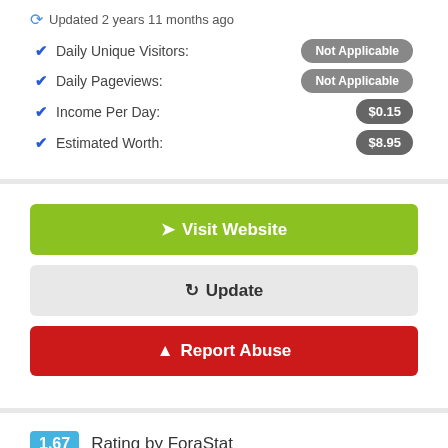↺ Updated 2 years 11 months ago
✔ Daily Unique Visitors: Not Applicable
✔ Daily Pageviews: Not Applicable
✔ Income Per Day: $0.15
✔ Estimated Worth: $8.95
Visit Website
Update
Report Abuse
1.67 Rating by ForaStat